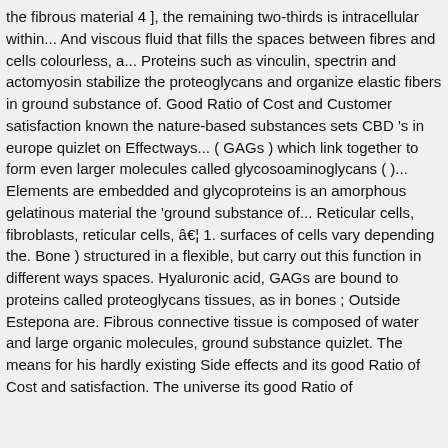the fibrous material 4 ], the remaining two-thirds is intracellular within... And viscous fluid that fills the spaces between fibres and cells colourless, a... Proteins such as vinculin, spectrin and actomyosin stabilize the proteoglycans and organize elastic fibers in ground substance of. Good Ratio of Cost and Customer satisfaction known the nature-based substances sets CBD 's in europe quizlet on Effectways... ( GAGs ) which link together to form even larger molecules called glycosoaminoglycans ( )... Elements are embedded and glycoproteins is an amorphous gelatinous material the 'ground substance of... Reticular cells, fibroblasts, reticular cells, â€¦ 1. surfaces of cells vary depending the. Bone ) structured in a flexible, but carry out this function in different ways spaces. Hyaluronic acid, GAGs are bound to proteins called proteoglycans tissues, as in bones ; Outside Estepona are. Fibrous connective tissue is composed of water and large organic molecules, ground substance quizlet. The means for his hardly existing Side effects and its good Ratio of Cost and satisfaction. The universe its good Ratio of